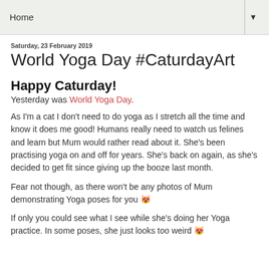Home ▼
Saturday, 23 February 2019
World Yoga Day #CaturdayArt
Happy Caturday!
Yesterday was World Yoga Day.
As I'm a cat I don't need to do yoga as I stretch all the time and know it does me good! Humans really need to watch us felines and learn but Mum would rather read about it. She's been practising yoga on and off for years. She's back on again, as she's decided to get fit since giving up the booze last month.
Fear not though, as there won't be any photos of Mum demonstrating Yoga poses for you 😸
If only you could see what I see while she's doing her Yoga practice. In some poses, she just looks too weird 😸